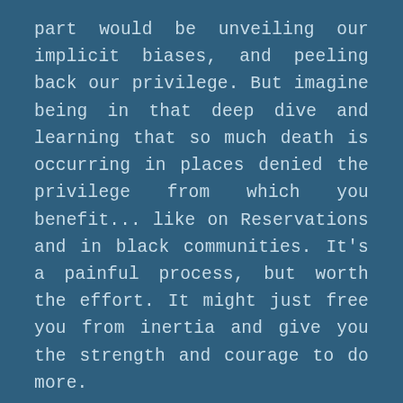part would be unveiling our implicit biases, and peeling back our privilege. But imagine being in that deep dive and learning that so much death is occurring in places denied the privilege from which you benefit... like on Reservations and in black communities. It’s a painful process, but worth the effort. It might just free you from inertia and give you the strength and courage to do more.
But wait... there’s more. Some kind of magick occurred in this process. Our remarkable and big-hearted teachers and facilitators, who are on their fifth go-round with this annual class, have informed us that this level of bonding has not happened before. They had not previously seen